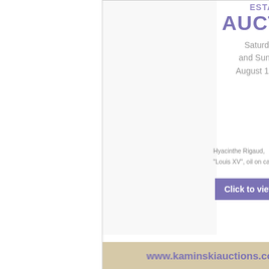[Figure (illustration): Kaminski Auctions advertisement: 'AUCTION' in large purple letters, date Saturday 27th and Sunday 28th August 11AM EDT, artwork caption 'Hyacinthe Rigaud, Louis XV, oil on canvas', purple button 'Click to view catalogue', tan bar with www.kaminskiauctions.com]
Advertisement
[Figure (illustration): Skånes Auktionsverk advertisement: 'Carl Fabergé stamp box' in italic text, Skånes Auktionsverk logo with building icon, photo of dark wood stamp box with decorative red lid on right side]